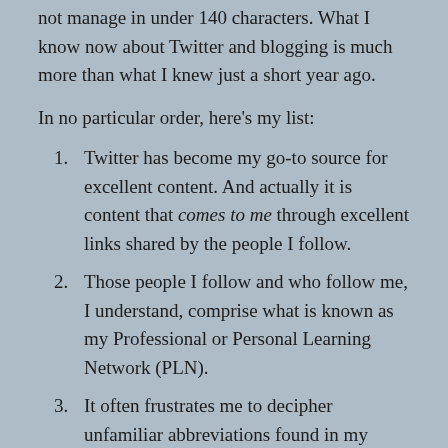not manage in under 140 characters. What I know now about Twitter and blogging is much more than what I knew just a short year ago.
In no particular order, here's my list:
Twitter has become my go-to source for excellent content. And actually it is content that comes to me through excellent links shared by the people I follow.
Those people I follow and who follow me, I understand, comprise what is known as my Professional or Personal Learning Network (PLN).
It often frustrates me to decipher unfamiliar abbreviations found in my twitter feed and so